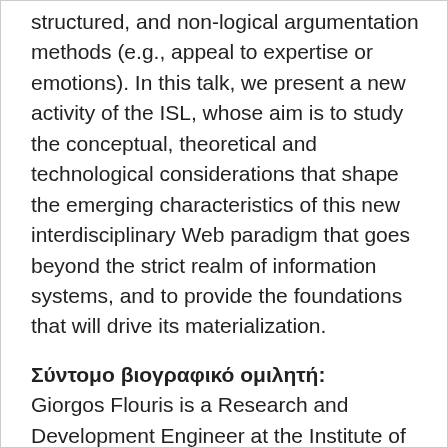structured, and non-logical argumentation methods (e.g., appeal to expertise or emotions). In this talk, we present a new activity of the ISL, whose aim is to study the conceptual, theoretical and technological considerations that shape the emerging characteristics of this new interdisciplinary Web paradigm that goes beyond the strict realm of information systems, and to provide the foundations that will drive its materialization.
Σύντομο βιογραφικό ομιλητή: Giorgos Flouris is a Research and Development Engineer at the Institute of Computer Science in FORTH. His research interests lie mainly in the areas